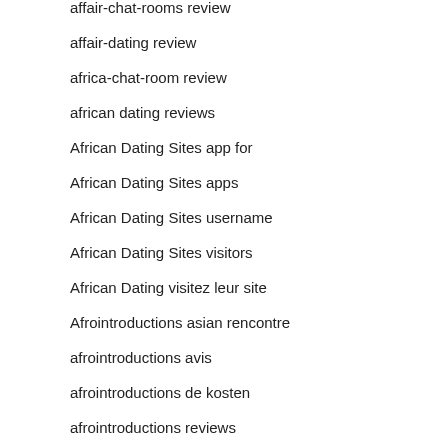affair-chat-rooms review
affair-dating review
africa-chat-room review
african dating reviews
African Dating Sites app for
African Dating Sites apps
African Dating Sites username
African Dating Sites visitors
African Dating visitez leur site
Afrointroductions asian rencontre
afrointroductions avis
afrointroductions de kosten
afrointroductions reviews
afrointroductions visitors
afroromance reviews
afroromance web
Afroromance Zaloguj si?
age gap dating review